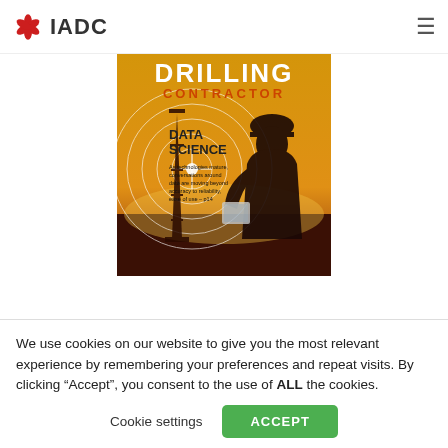IADC
[Figure (photo): Drilling Contractor magazine cover featuring a silhouetted worker in a hard hat holding a tablet, against a golden/orange background with a drilling rig. Text on cover reads: DRILLING CONTRACTOR, DATA SCIENCE, As technologies mature, conversations around data are moving beyond accuracy to reliability, ease of use – p14]
We use cookies on our website to give you the most relevant experience by remembering your preferences and repeat visits. By clicking “Accept”, you consent to the use of ALL the cookies.
Cookie settings    ACCEPT